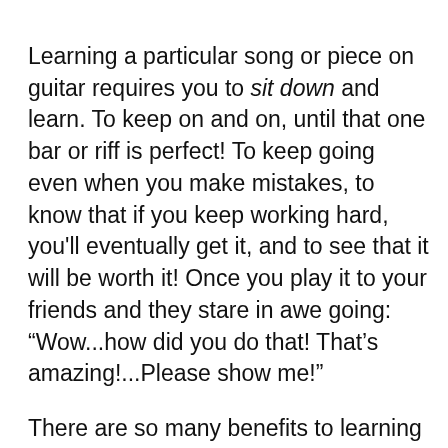Learning a particular song or piece on guitar requires you to sit down and learn. To keep on and on, until that one bar or riff is perfect! To keep going even when you make mistakes, to know that if you keep working hard, you'll eventually get it, and to see that it will be worth it! Once you play it to your friends and they stare in awe going: “Wow...how did you do that! That’s amazing!...Please show me!”
There are so many benefits to learning guitar; it’s almost silly not to at least try!